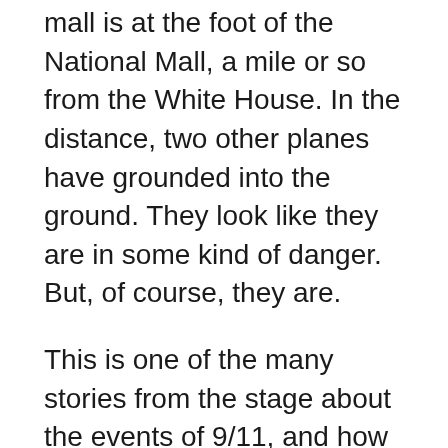mall is at the foot of the National Mall, a mile or so from the White House. In the distance, two other planes have grounded into the ground. They look like they are in some kind of danger. But, of course, they are.
This is one of the many stories from the stage about the events of 9/11, and how it was changed forever.
There were people who were on that plane. Some of them would go on to be heroes. Some of them would go on to be villains. And then there were all the families who never got to pick up the pieces.